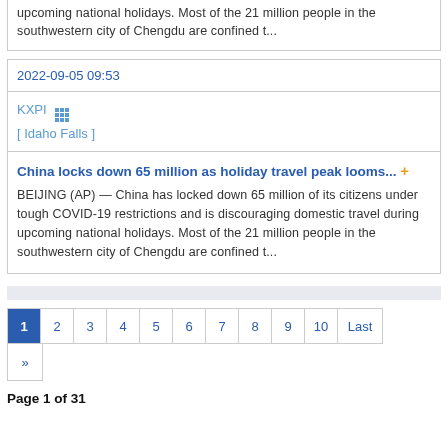upcoming national holidays. Most of the 21 million people in the southwestern city of Chengdu are confined t...
2022-09-05 09:53
KXPI [ Idaho Falls ]
China locks down 65 million as holiday travel peak looms... + BEIJING (AP) — China has locked down 65 million of its citizens under tough COVID-19 restrictions and is discouraging domestic travel during upcoming national holidays. Most of the 21 million people in the southwestern city of Chengdu are confined t...
Page 1 of 31